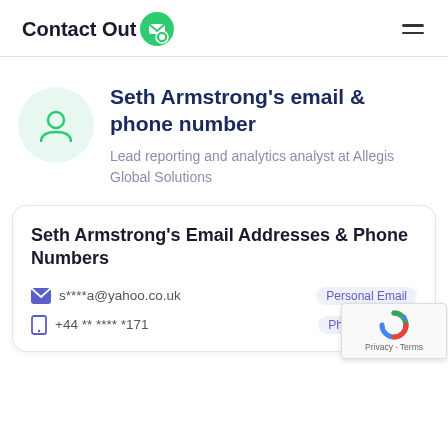ContactOut
Seth Armstrong's email & phone number
Lead reporting and analytics analyst at Allegis Global Solutions
Seth Armstrong's Email Addresses & Phone Numbers
s****a@yahoo.co.uk Personal Email
+44 ** **** *171 Phone number